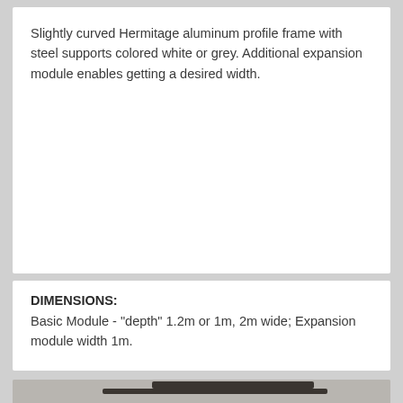Slightly curved Hermitage aluminum profile frame with steel supports colored white or grey. Additional expansion module enables getting a desired width.
DIMENSIONS:
Basic Module - "depth" 1.2m or 1m, 2m wide; Expansion module width 1m.
[Figure (photo): Photo of a Hermitage aluminum profile frame canopy/awning structure with dark grey frame and transparent polycarbonate panels, showing the curved support arms mounted to a wall.]